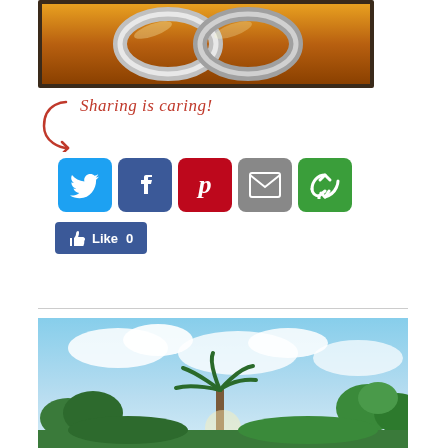[Figure (photo): Photo of two metallic/silver rings on a warm golden/yellow textured surface, framed with a dark border]
[Figure (infographic): Sharing is caring! social sharing buttons section with Twitter (blue), Facebook (dark blue), Pinterest (red), Email (gray), and More (green) icon buttons, plus a Facebook Like button showing 0 likes]
[Figure (photo): Outdoor photo showing a blue sky with white clouds, a palm tree in the center, and green trees/foliage on the sides]